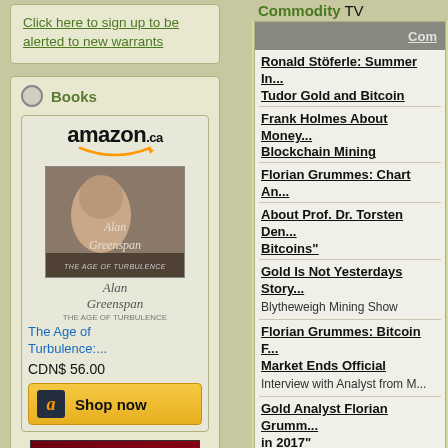Click here to sign up to be alerted to new warrants
Books
[Figure (other): Amazon.ca advertisement for The Age of Turbulence by Alan Greenspan, priced CDN$ 56.00 with Shop now button]
[Figure (other): Book cover: The Investor's Guide to Warrants - Capitalize on the Fastest Growing Sector of the...]
Commodity TV
Com
Ronald Stöferle: Summer In... Tudor Gold and Bitcoin
Frank Holmes About Money... Blockchain Mining
Florian Grummes: Chart An...
About Prof. Dr. Torsten Den... Bitcoins"
Gold Is Not Yesterdays Story...
Blytheweigh Mining Show
Florian Grummes: Bitcoin F... Market Ends Official
Interview with Analyst from M...
Gold Analyst Florian Grumm... in 2017"
Interview with CEO of Midas...
Panel Discussion "Gold, Bitd... Currency"
with James Turk (GoldMoney... Paul Burton (Piran Mining Re...